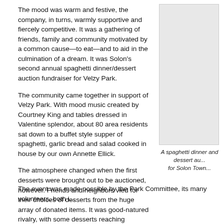The mood was warm and festive, the company, in turns, warmly supportive and fiercely competitive. It was a gathering of friends, family and community motivated by a common cause—to eat—and to aid in the culmination of a dream. It was Solon's second annual spaghetti dinner/dessert auction fundraiser for Velzy Park.
The community came together in support of Velzy Park. With mood music created by Courtney King and tables dressed in Valentine splendor, about 80 area residents sat down to a buffet style supper of spaghetti, garlic bread and salad cooked in house by our own Annette Ellick.
[Figure (photo): Photo of spaghetti dinner and dessert auction event]
A spaghetti dinner and dessert au... for Solon Town...
The atmosphere changed when the first desserts were brought out to be auctioned, however. Friends and neighbors vied for their choices of desserts from the huge array of donated items. It was good-natured rivalry, with some desserts reaching upwards of $50. Many of the desserts were shared table to table and the home for later. Desserts ruled, but they were not the only choice for bidding as a g... donated by David Ringler also shared the auction table.
The event was made possible by the Park Committee, its many volunteers, both i...